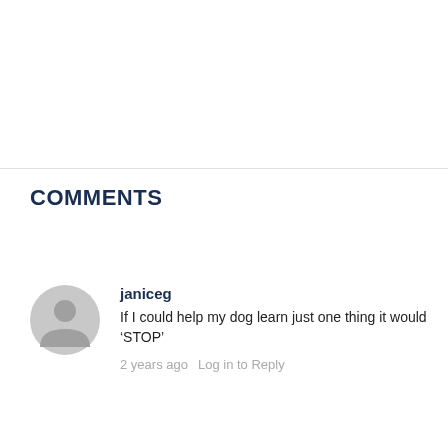COMMENTS
janiceg
If I could help my dog learn just one thing it would ‘STOP’
2 years ago  Log in to Reply